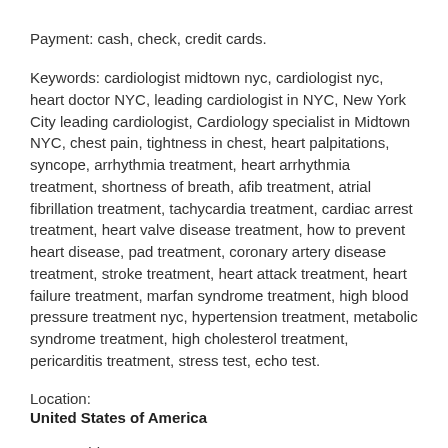Payment: cash, check, credit cards.
Keywords: cardiologist midtown nyc, cardiologist nyc, heart doctor NYC, leading cardiologist in NYC, New York City leading cardiologist, Cardiology specialist in Midtown NYC, chest pain, tightness in chest, heart palpitations, syncope, arrhythmia treatment, heart arrhythmia treatment, shortness of breath, afib treatment, atrial fibrillation treatment, tachycardia treatment, cardiac arrest treatment, heart valve disease treatment, how to prevent heart disease, pad treatment, coronary artery disease treatment, stroke treatment, heart attack treatment, heart failure treatment, marfan syndrome treatment, high blood pressure treatment nyc, hypertension treatment, metabolic syndrome treatment, high cholesterol treatment, pericarditis treatment, stress test, echo test.
Location:
United States of America
Street Address:
200 West 57th Street, Suite 200 New York, NY 10019